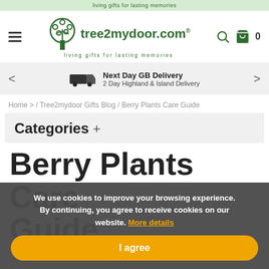tree2mydoor.com — living gifts for lasting memories
Next Day GB Delivery
2 Day Highland & Island Delivery
Home > / Tree2mydoor Gifts Blog / Berry Plants Care Guide
Categories +
Berry Plants Care Guide
We use cookies to improve your browsing experience. By continuing, you agree to receive cookies on our website. More details
I agree